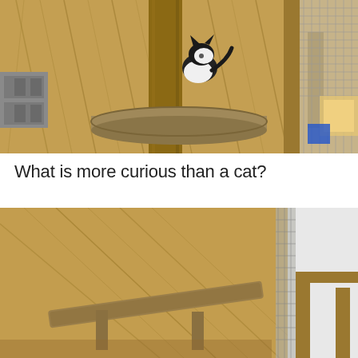[Figure (photo): A black and white cat perched on top of a large wooden cable spool in a barn-like setting with hay in the background and wire mesh fencing on the right side.]
What is more curious than a cat?
[Figure (photo): A black and white cat interacting with a small child or toddler near a wooden spool/ramp structure, in the same barn setting with hay and wire mesh fencing.]